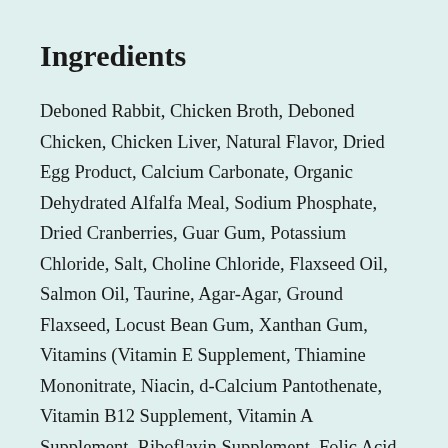Ingredients
Deboned Rabbit, Chicken Broth, Deboned Chicken, Chicken Liver, Natural Flavor, Dried Egg Product, Calcium Carbonate, Organic Dehydrated Alfalfa Meal, Sodium Phosphate, Dried Cranberries, Guar Gum, Potassium Chloride, Salt, Choline Chloride, Flaxseed Oil, Salmon Oil, Taurine, Agar-Agar, Ground Flaxseed, Locust Bean Gum, Xanthan Gum, Vitamins (Vitamin E Supplement, Thiamine Mononitrate, Niacin, d-Calcium Pantothenate, Vitamin B12 Supplement, Vitamin A Supplement, Riboflavin Supplement, Folic Acid, Biotin, Pyridoxine Hydrochloride, Menadione Sodium Bisulfite Complex (source of Vitamin K), Vitamin